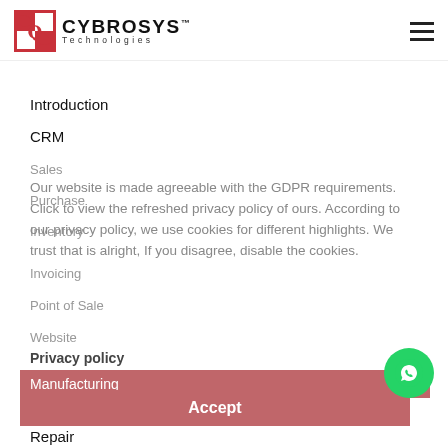[Figure (logo): Cybrosys Technologies logo with red square icon and brand name]
Introduction
CRM
Sales
Purchase
Inventory
Invoicing
Point of Sale
Website
Manufacturing
Maintenance
Our website is made agreeable with the GDPR requirements. Click to view the refreshed privacy policy of ours. According to our privacy policy, we use cookies for different highlights. We trust that is alright, If you disagree, disable the cookies.
Privacy policy
Accept
Repair